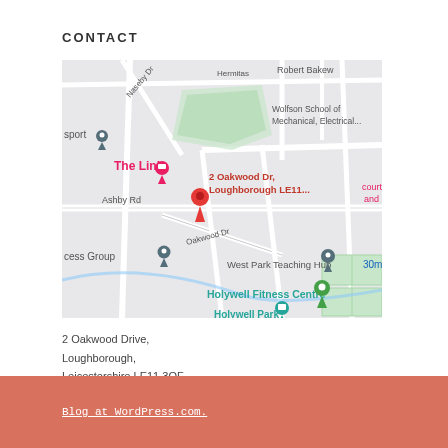CONTACT
[Figure (map): Google Maps screenshot showing 2 Oakwood Dr, Loughborough LE11, with nearby landmarks including The Link, West Park Teaching Hub, Holywell Fitness Centre, Holywell Park Conference Centre, Wolfson School of Mechanical Electrical, Ashby Rd, Oakwood Dr.]
2 Oakwood Drive,
Loughborough,
Leicestershire LE11 3QF
+ 44 (0) 1509 226868
Blog at WordPress.com.